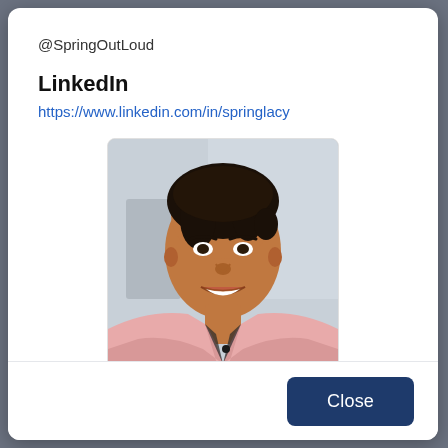@SpringOutLoud
LinkedIn
https://www.linkedin.com/in/springlacy
[Figure (photo): Professional headshot of a woman wearing a pink blazer, smiling, with dark hair pulled back. Background appears to be a light gray/white office setting.]
Close